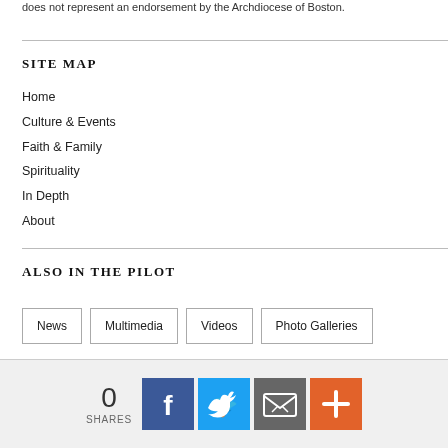does not represent an endorsement by the Archdiocese of Boston.
SITE MAP
Home
Culture & Events
Faith & Family
Spirituality
In Depth
About
ALSO IN THE PILOT
News
Multimedia
Videos
Photo Galleries
0 SHARES